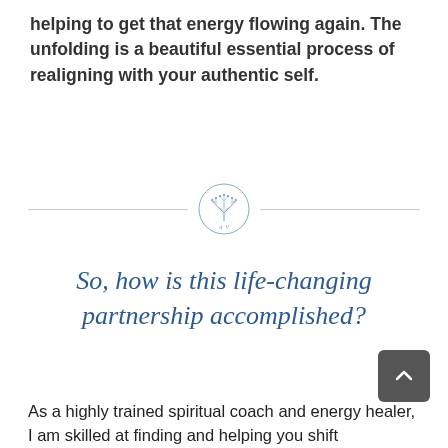helping to get that energy flowing again. The unfolding is a beautiful essential process of realigning with your authentic self.
[Figure (logo): Circular logo with tree of life illustration and letters 'A V' below it, with horizontal divider lines on either side]
So, how is this life-changing partnership accomplished?
As a highly trained spiritual coach and energy healer, I am skilled at finding and helping you shift